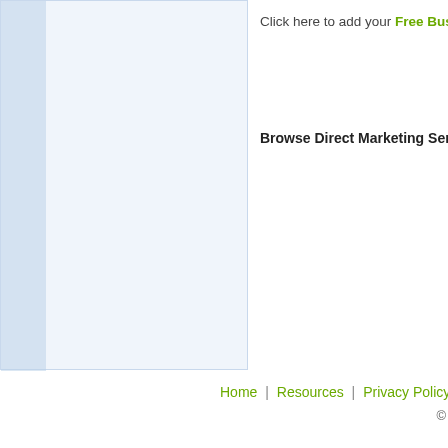[Figure (screenshot): Left panel showing a light blue/grey content placeholder area with a darker blue accent strip on the left side]
Click here to add your Free Business...
Browse Direct Marketing Servic...
Home | Resources | Privacy Policy | Te...
©
[Figure (screenshot): Share bar at bottom with Share label and social media icons including Facebook, globe/web, and a sharing icon]